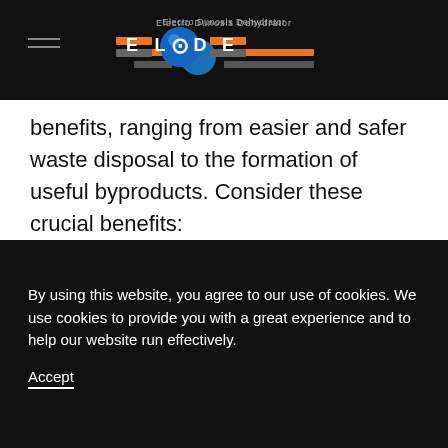Electro Dunosis Dehydrator — ELODE logo
benefits, ranging from easier and safer waste disposal to the formation of useful byproducts. Consider these crucial benefits:
Waste Reduction
By treating and releasing water from sewage sludge, facilities significantly reduce the total volume of remaining waste. This reduces adverse
By using this website, you agree to our use of cookies. We use cookies to provide you with a great experience and to help our website run effectively. Accept